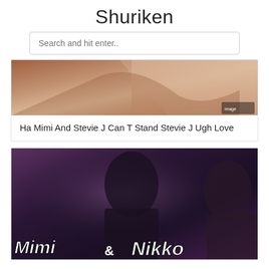Shuriken
Search and hit enter..
[Figure (photo): Close-up photo of two people, warm skin tones, appears to be an entertainment/celebrity image]
Ha Mimi And Stevie J Can T Stand Stevie J Ugh Love
[Figure (photo): Photo of a woman in a black outfit with curly hair, text overlay reads 'Mimi & Nikko']
Do Task Of Eye Don t Still Think There S Anything More Mis...